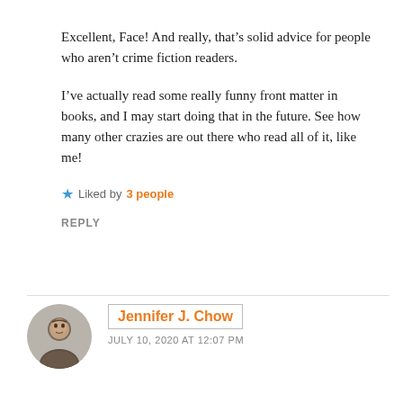Excellent, Face! And really, that’s solid advice for people who aren’t crime fiction readers.
I’ve actually read some really funny front matter in books, and I may start doing that in the future. See how many other crazies are out there who read all of it, like me!
★ Liked by 3 people
REPLY
Jennifer J. Chow
JULY 10, 2020 AT 12:07 PM